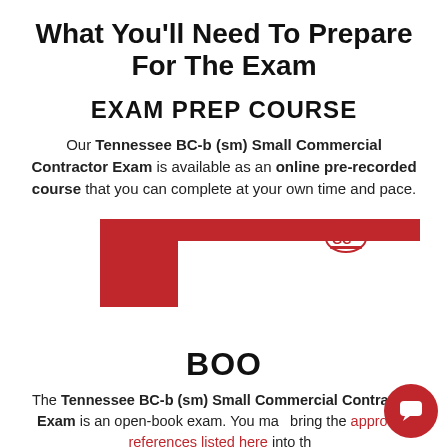What You'll Need To Prepare For The Exam
EXAM PREP COURSE
Our Tennessee BC-b (sm) Small Commercial Contractor Exam is available as an online pre-recorded course that you can complete at your own time and pace.
[Figure (screenshot): Red decorative image block with partial section header and chat overlay popup saying 'Got any questions? I'm happy to help.' with a GC logo and close button]
BOO
The Tennessee BC-b (sm) Small Commercial Contractor Exam is an open-book exam. You may bring the approved references listed here into the exam with you. We also offer pre-tabbed and